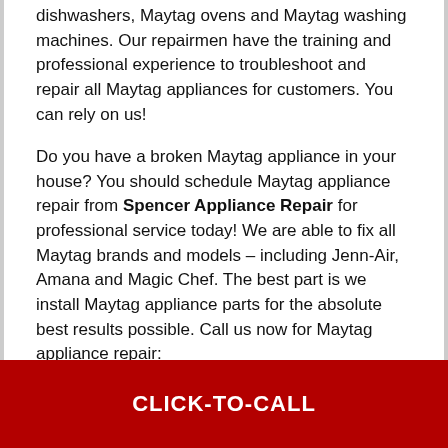dishwashers, Maytag ovens and Maytag washing machines. Our repairmen have the training and professional experience to troubleshoot and repair all Maytag appliances for customers. You can rely on us!
Do you have a broken Maytag appliance in your house? You should schedule Maytag appliance repair from Spencer Appliance Repair for professional service today! We are able to fix all Maytag brands and models – including Jenn-Air, Amana and Magic Chef. The best part is we install Maytag appliance parts for the absolute best results possible. Call us now for Maytag appliance repair:
CALL FOR MAYTAG APPLIANCE REPAIR TODAY!
CLICK-TO-CALL